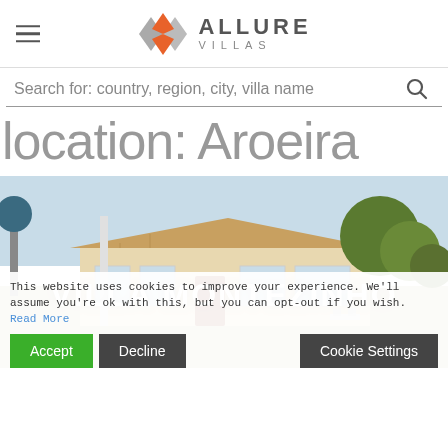Allure Villas
Search for: country, region, city, villa name
location: Aroeira
[Figure (photo): Exterior photo of Villa Montezinho, a white/cream single-storey villa with terracotta roof tiles, large windows, a red door, outdoor seating area, surrounded by trees and a driveway. Overlay text: VILLA MONTEZINHO]
This website uses cookies to improve your experience. We'll assume you're ok with this, but you can opt-out if you wish. Read More
Accept   Decline   Cookie Settings